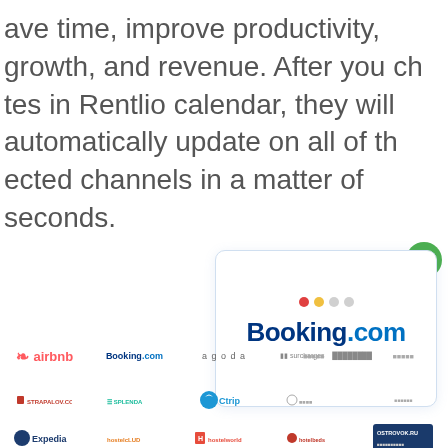ave time, improve productivity, growth, and revenue. After you ch...tes in Rentlio calendar, they will automatically update on all of th...ected channels in a matter of seconds.
[Figure (illustration): Screenshot/card showing Booking.com logo with colored dots (red, yellow, gray) above it, a green checkmark circle in top-right corner. Below the card are rows of partner/channel logos: airbnb, Booking.com, agoda, Expedia, STRAPALOV.COM, SPLENDA, Ctrip, hostelclub, Hostelworld, hotelbeds, OSTROVOK.RU, and other smaller gray logos.]